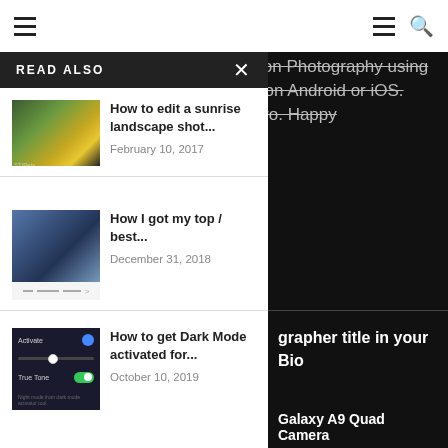Navigation bar with hamburger menu and search icon
to bringing you tips and tutorials on Photography using your Mobile or Smartphone be it on Android or iOS. You will also learn to edit like a pro. Happy
READ ALSO
How to edit a sunrise landscape shot... February 10, 2017
How I got my top / best... December 31, 2018
How to get Dark Mode activated for... October 10, 2019
grapher title in your Bio
Galaxy A9 Quad Camera